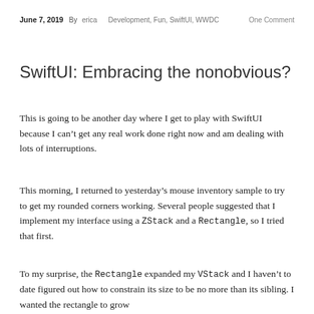June 7, 2019   By erica   Development, Fun, SwiftUI, WWDC   One Comment
SwiftUI: Embracing the nonobvious?
This is going to be another day where I get to play with SwiftUI because I can't get any real work done right now and am dealing with lots of interruptions.
This morning, I returned to yesterday's mouse inventory sample to try to get my rounded corners working. Several people suggested that I implement my interface using a ZStack and a Rectangle, so I tried that first.
To my surprise, the Rectangle expanded my VStack and I haven't to date figured out how to constrain its size to be no more than its sibling. I wanted the rectangle to grow